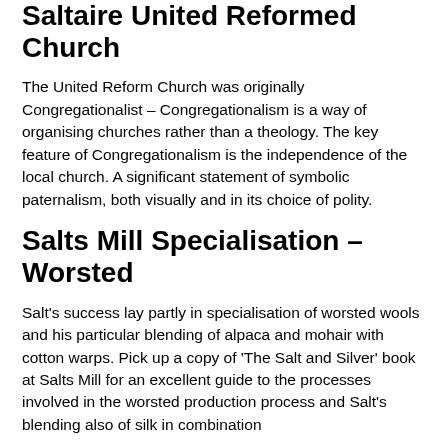Saltaire United Reformed Church
The United Reform Church was originally Congregationalist – Congregationalism is a way of organising churches rather than a theology. The key feature of Congregationalism is the independence of the local church. A significant statement of symbolic paternalism, both visually and in its choice of polity.
Salts Mill Specialisation – Worsted
Salt's success lay partly in specialisation of worsted wools and his particular blending of alpaca and mohair with cotton warps. Pick up a copy of 'The Salt and Silver' book at Salts Mill for an excellent guide to the processes involved in the worsted production process and Salt's blending also of silk in combination with...